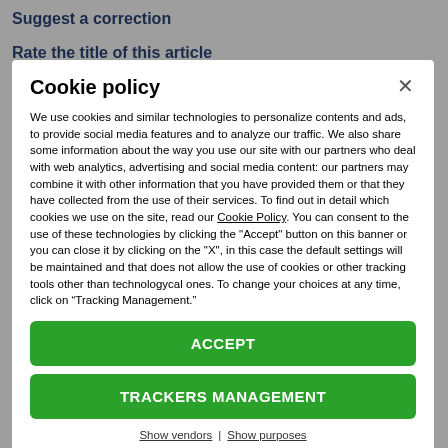Suggest a correction
Rate the title of this article
Cookie policy
We use cookies and similar technologies to personalize contents and ads, to provide social media features and to analyze our traffic. We also share some information about the way you use our site with our partners who deal with web analytics, advertising and social media content: our partners may combine it with other information that you have provided them or that they have collected from the use of their services. To find out in detail which cookies we use on the site, read our Cookie Policy. You can consent to the use of these technologies by clicking the "Accept" button on this banner or you can close it by clicking on the "X", in this case the default settings will be maintained and that does not allow the use of cookies or other tracking tools other than technologycal ones. To change your choices at any time, click on “Tracking Management.”
ACCEPT
TRACKERS MANAGEMENT
Show vendors | Show purposes